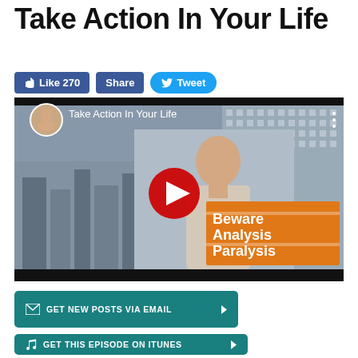Take Action In Your Life
[Figure (screenshot): Social sharing buttons: Like 270 (Facebook), Share (Facebook), Tweet (Twitter)]
[Figure (screenshot): YouTube video thumbnail showing a man in a white shirt with text overlay 'Beware Analysis Paralysis' on an orange background, with a red play button in center. Video title: Take Action In Your Life]
[Figure (screenshot): Teal button: GET NEW POSTS VIA EMAIL with envelope icon and arrow]
[Figure (screenshot): Teal button: GET THIS EPISODE ON ITUNES with Apple icon and arrow]